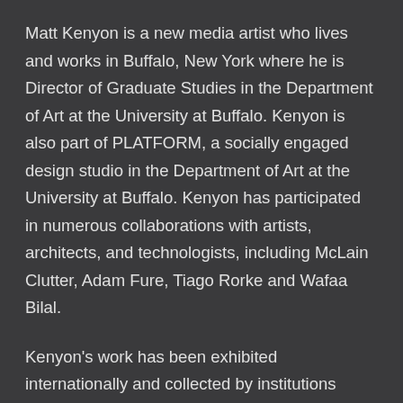Matt Kenyon is a new media artist who lives and works in Buffalo, New York where he is Director of Graduate Studies in the Department of Art at the University at Buffalo. Kenyon is also part of PLATFORM, a socially engaged design studio in the Department of Art at the University at Buffalo. Kenyon has participated in numerous collaborations with artists, architects, and technologists, including McLain Clutter, Adam Fure, Tiago Rorke and Wafaa Bilal.
Kenyon's work has been exhibited internationally and collected by institutions including the Museum of Modern Art in New York. It has received a number of awards including the distinguished FILE Prix Lux Art prize. Reproductions of SWAMP's work have been featured in mainstream publications such as the New